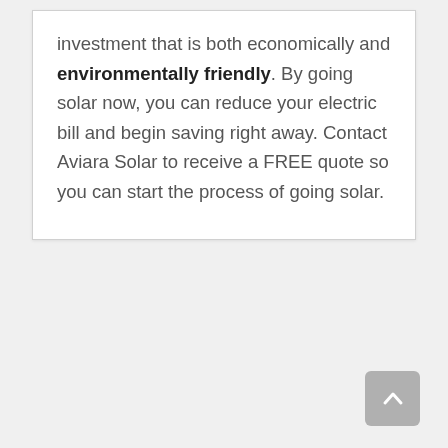investment that is both economically and environmentally friendly. By going solar now, you can reduce your electric bill and begin saving right away. Contact Aviara Solar to receive a FREE quote so you can start the process of going solar.